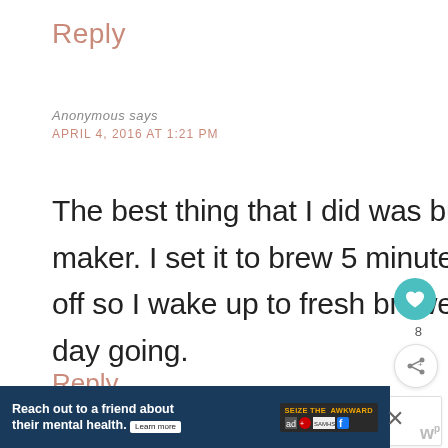Reply
Anonymous says
APRIL 4, 2016 AT 1:21 PM
The best thing that I did was buy a programmable coffee maker. I set it to brew 5 minutes before my alarm goes off so I wake up to fresh brewed coffee to help me get my day going.
Reply
[Figure (infographic): Ad banner: Reach out to a friend about their mental health. Learn more. Seize the Awkward badge.]